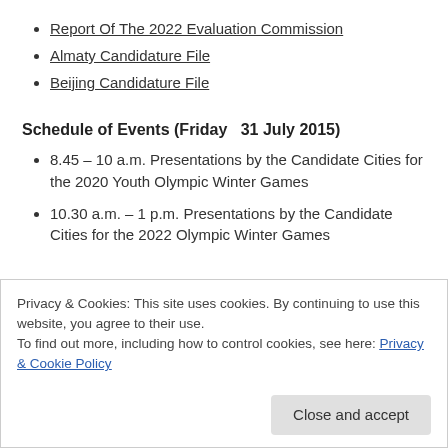Report Of The 2022 Evaluation Commission
Almaty Candidature File
Beijing Candidature File
Schedule of Events (Friday  31 July 2015)
8.45 – 10 a.m. Presentations by the Candidate Cities for the 2020 Youth Olympic Winter Games
10.30 a.m. – 1 p.m. Presentations by the Candidate Cities for the 2022 Olympic Winter Games
Privacy & Cookies: This site uses cookies. By continuing to use this website, you agree to their use.
To find out more, including how to control cookies, see here: Privacy & Cookie Policy
Close and accept